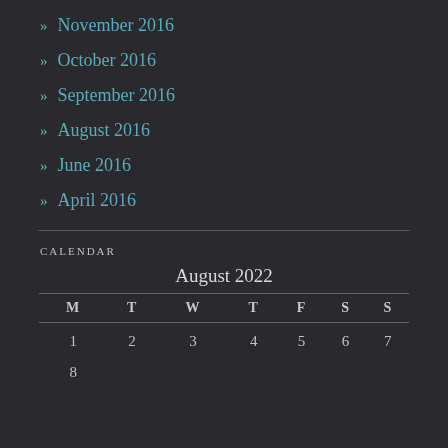» November 2016
» October 2016
» September 2016
» August 2016
» June 2016
» April 2016
CALENDAR
| M | T | W | T | F | S | S |
| --- | --- | --- | --- | --- | --- | --- |
| 1 | 2 | 3 | 4 | 5 | 6 | 7 |
| 8 |  |  |  |  |  |  |